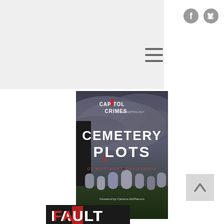Jenny Carless wild life
[Figure (logo): Social media icons: Facebook and Twitter circles in gray]
[Figure (other): Hamburger menu icon (three horizontal lines)]
[Figure (photo): Book cover: Capitol Crimes 2021 Anthology - Cemetery Plots of Northern California, Foreword by Catriona McPherson. Dark stormy sky background with cemetery headstones.]
[Figure (other): Scroll-to-top button with upward chevron]
[Figure (photo): Partial view of another book cover showing text FAULT (partially cut off at bottom)]